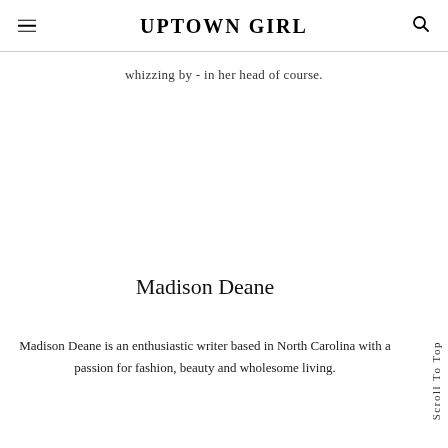UPTOWN GIRL
whizzing by - in her head of course.
Madison Deane
Madison Deane is an enthusiastic writer based in North Carolina with a passion for fashion, beauty and wholesome living.
Scroll To Top